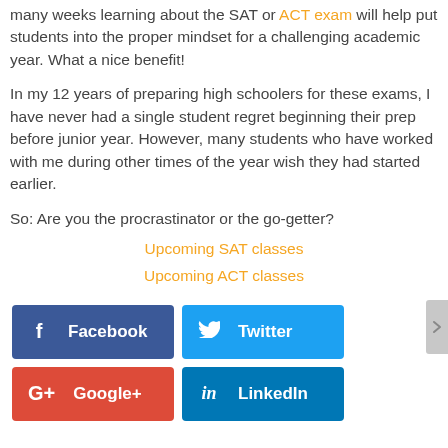many weeks learning about the SAT or ACT exam will help put students into the proper mindset for a challenging academic year. What a nice benefit!
In my 12 years of preparing high schoolers for these exams, I have never had a single student regret beginning their prep before junior year. However, many students who have worked with me during other times of the year wish they had started earlier.
So: Are you the procrastinator or the go-getter?
Upcoming SAT classes
Upcoming ACT classes
[Figure (infographic): Four social media share buttons: Facebook (dark blue), Twitter (light blue), Google+ (red), LinkedIn (teal blue)]